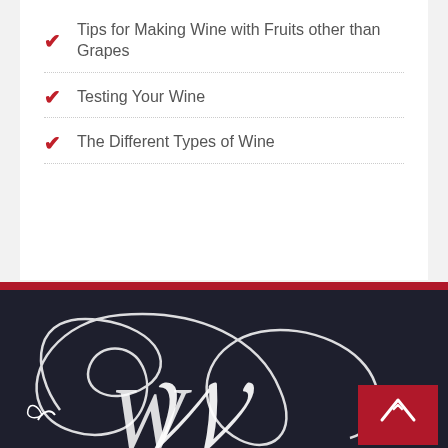Tips for Making Wine with Fruits other than Grapes
Testing Your Wine
The Different Types of Wine
[Figure (logo): Decorative wine-related logo with ornate script letters W and cursive flourishes on dark navy background, with a red scroll-to-top button in the bottom right corner]